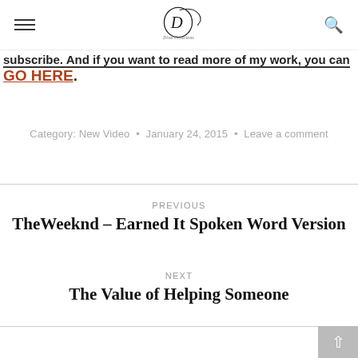[Logo: Diva Creations] [Hamburger menu] [Search icon]
subscribe. And if you want to read more of my work, you can GO HERE.
Category: New Video • January 24, 2015 • Leave a comment
PREVIOUS
TheWeeknd – Earned It Spoken Word Version
NEXT
The Value of Helping Someone